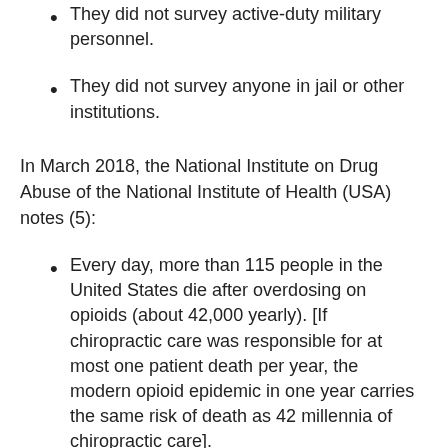They did not survey active-duty military personnel.
They did not survey anyone in jail or other institutions.
In March 2018, the National Institute on Drug Abuse of the National Institute of Health (USA) notes (5):
Every day, more than 115 people in the United States die after overdosing on opioids (about 42,000 yearly). [If chiropractic care was responsible for at most one patient death per year, the modern opioid epidemic in one year carries the same risk of death as 42 millennia of chiropractic care].
The Centers for Disease Control and Prevention estimates that the total economic burden of prescription opioid…